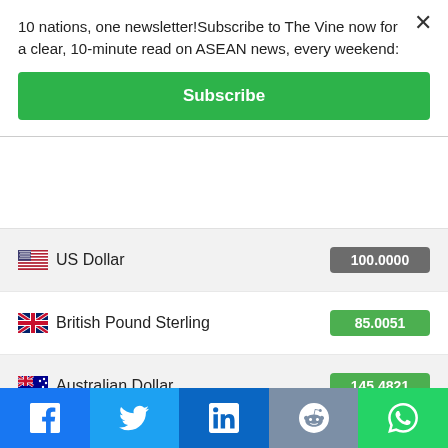10 nations, one newsletter!Subscribe to The Vine now for a clear, 10-minute read on ASEAN news, every weekend:
Subscribe
| Currency | Value |
| --- | --- |
| US Dollar | 100.0000 |
| British Pound Sterling | 85.0051 |
| Australian Dollar | 145.4821 |
| Chinese Yuan | 684.5400 |
| Japanese Yen | 13752.3000 |
| Russian Ruble | 5977.5005 |
23 Aug, 2022
Facebook | Twitter | LinkedIn | Reddit | WhatsApp